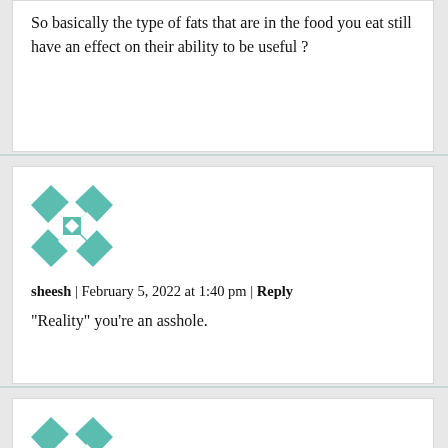So basically the type of fats that are in the food you eat still have an effect on their ability to be useful ?
[Figure (illustration): Teal and white geometric quilt-pattern avatar for user sheesh]
sheesh | February 5, 2022 at 1:40 pm | Reply
“Reality” you’re an asshole.
[Figure (illustration): Teal and white geometric quilt-pattern avatar for user Sharon]
Sharon | February 5, 2022 at 1:42 pm | Reply